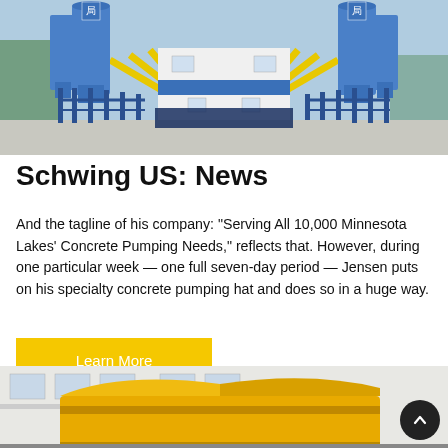[Figure (photo): Industrial concrete batching plant with large blue silos, blue steel frame structure, yellow conveyor arms, and white control building with windows and Chinese signage]
Schwing US: News
And the tagline of his company: "Serving All 10,000 Minnesota Lakes' Concrete Pumping Needs," reflects that. However, during one particular week — one full seven-day period — Jensen puts on his specialty concrete pumping hat and does so in a huge way.
Learn More
[Figure (photo): Yellow concrete pump truck or mixer equipment partially visible, photographed in a factory or industrial yard with white building in background]